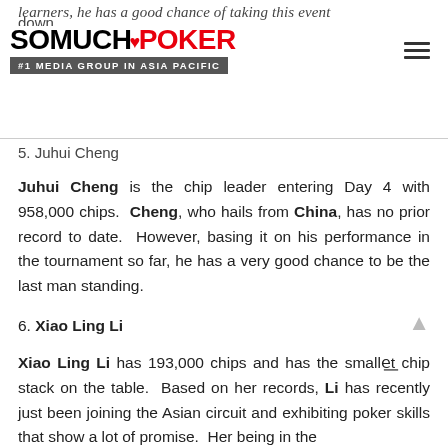learners, he has a good chance of taking this event down.
[Figure (logo): SoMuchPoker logo with tagline #1 MEDIA GROUP IN ASIA PACIFIC]
5. Juhui Cheng
Juhui Cheng is the chip leader entering Day 4 with 958,000 chips. Cheng, who hails from China, has no prior record to date. However, basing it on his performance in the tournament so far, he has a very good chance to be the last man standing.
6. Xiao Ling Li
Xiao Ling Li has 193,000 chips and has the smallest chip stack on the table. Based on her records, Li has recently just been joining the Asian circuit and exhibiting poker skills that show a lot of promise. Her being in the